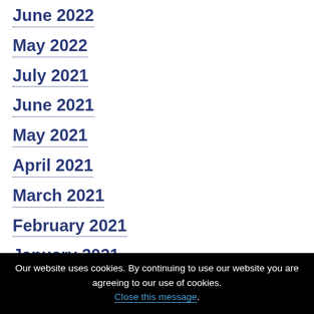June 2022
May 2022
July 2021
June 2021
May 2021
April 2021
March 2021
February 2021
January 2021
August 2020
Our website uses cookies. By continuing to use our website you are agreeing to our use of cookies. Close this message.